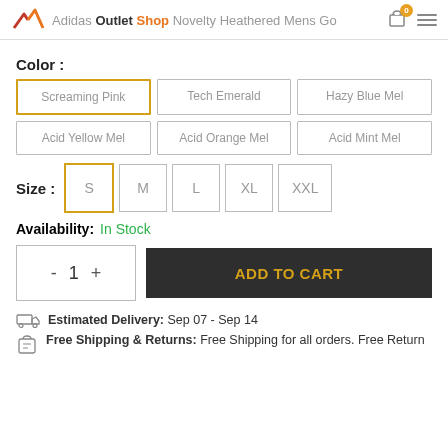Adidas Outlet Shop Novelty Heathered Mens Golf Polo
Color :
Screaming Pink
Tech Emerald
Hazy Blue Mel
Acid Yellow Mel
Acid Orange Mel
Acid Mint Mel
Size :
S
M
L
XL
XXL
Availability: In Stock
- 1 + ADD TO CART
Estimated Delivery: Sep 07 - Sep 14
Free Shipping & Returns: Free Shipping for all orders. Free Return